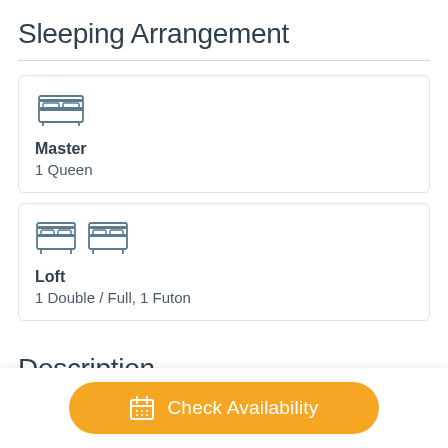Sleeping Arrangement
Master
1 Queen
Loft
1 Double / Full, 1 Futon
Description
House Rules:
Check Availability